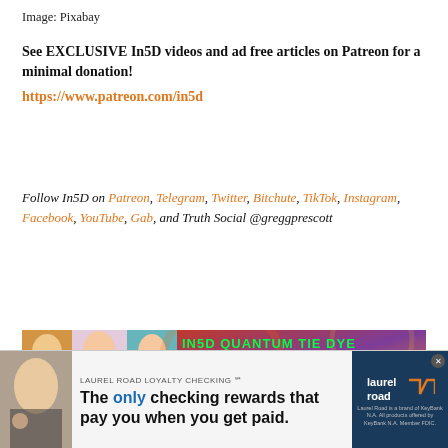Image: Pixabay
See EXCLUSIVE In5D videos and ad free articles on Patreon for a minimal donation!
https://www.patreon.com/in5d
Follow In5D on Patreon, Telegram, Twitter, Bitchute, TikTok, Instagram, Facebook, YouTube, Gab, and Truth Social @greggprescott
[Figure (photo): IN5D Quantum Tie Dye advertisement banner showing women in colorful tie-dye shirts with text: HIGH VIBRATIONAL SHIRTS, GAME CHANGER ENERGY, ENHANCE YOUR DREAMS AND DREAM RECALL, VISIT US AT IN5D.NET]
[Figure (photo): Laurel Road Loyalty Checking advertisement: The only checking rewards that pay you when you get paid. Laurel Road is a brand of KeyBank N.A. All products offered by KeyBank N.A. Member FDIC.]